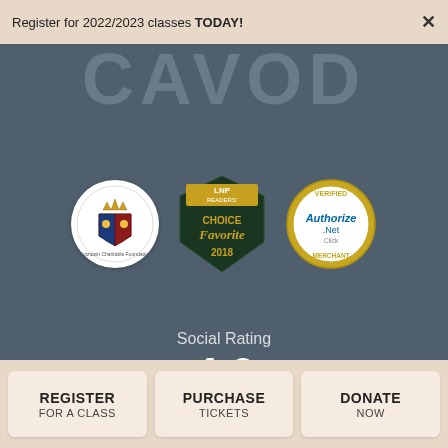Register for 2022/2023 classes TODAY!
[Figure (logo): Partially visible large text logo 'CAVOD' on dark grey background]
[Figure (logo): Three badges: 1) Circular white badge with Kutztownm charitable foundation coat of arms logo; 2) LNP Readers Choice Favorite 2018 pentagon badge in dark green and gold; 3) Authorize.Net Verified Merchant circular badge in gold and blue]
Social Rating
4.6
Based on 123 reviews
REGISTER
FOR A CLASS
PURCHASE
TICKETS
DONATE
NOW